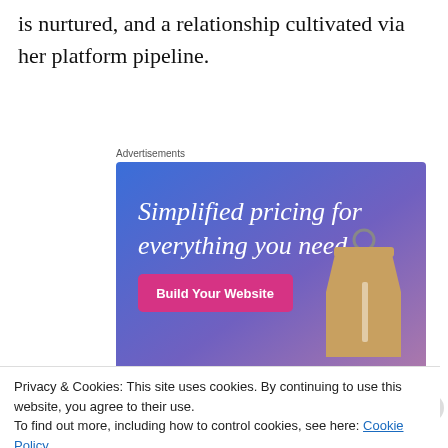is nurtured, and a relationship cultivated via her platform pipeline.
Advertisements
[Figure (illustration): Advertisement banner with blue-to-purple gradient background, white serif text reading 'Simplified pricing for everything you need.', a pink 'Build Your Website' button, and a 3D price tag image on the right.]
Privacy & Cookies: This site uses cookies. By continuing to use this website, you agree to their use.
To find out more, including how to control cookies, see here: Cookie Policy
Close and accept